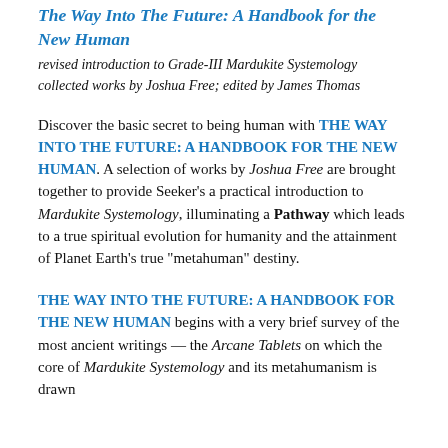The Way Into The Future: A Handbook for the New Human
revised introduction to Grade-III Mardukite Systemology collected works by Joshua Free; edited by James Thomas
Discover the basic secret to being human with THE WAY INTO THE FUTURE: A HANDBOOK FOR THE NEW HUMAN. A selection of works by Joshua Free are brought together to provide Seeker’s a practical introduction to Mardukite Systemology, illuminating a Pathway which leads to a true spiritual evolution for humanity and the attainment of Planet Earth’s true “metahuman” destiny.
THE WAY INTO THE FUTURE: A HANDBOOK FOR THE NEW HUMAN begins with a very brief survey of the most ancient writings — the Arcane Tablets on which the core of Mardukite Systemology and its metahumanism is drawn